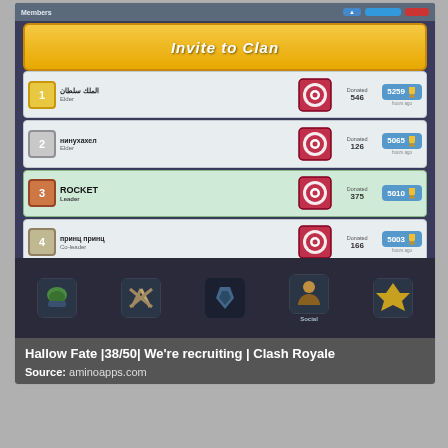[Figure (screenshot): Screenshot of Clash Royale mobile game showing 'Invite to Clan' screen with a list of 4 clan members. Each row shows rank number, player name, role, a card/shield icon, donation count, and trophy count. Member rows: 1) Arabic name, Elder, Donated 546, 5259 trophies; 2) name, Elder, Donated 126, 5065 trophies; 3) ROCKET, Leader, Donated 375, 5010 trophies (highlighted green); 4) name, Co-leader, Donated 166, 5003 trophies. Bottom navigation bar shows game icons and 'Social' label.]
Hallow Fate |38/50| We're recruiting | Clash Royale
Source: aminoapps.com